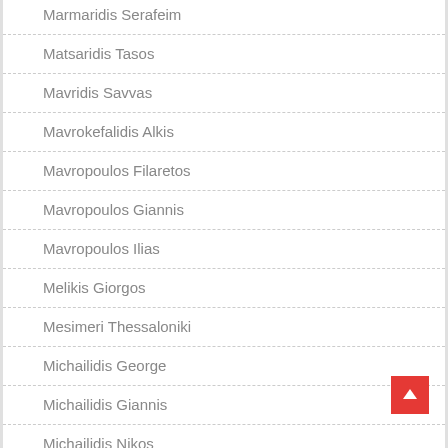Marmaridis Serafeim
Matsaridis Tasos
Mavridis Savvas
Mavrokefalidis Alkis
Mavropoulos Filaretos
Mavropoulos Giannis
Mavropoulos Ilias
Melikis Giorgos
Mesimeri Thessaloniki
Michailidis George
Michailidis Giannis
Michailidis Nikos
Michailidis St…